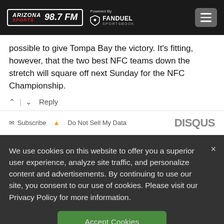Arizona Sports 98.7 FM — Powered By FanDuel Sportsbook
possible to give Tompa Bay the victory. It's fitting, however, that the two best NFC teams down the stretch will square off next Sunday for the NFC Championship.
↑ | ↓  Reply
✉ Subscribe  ▲ Do Not Sell My Data    DISQUS
We use cookies on this website to offer you a superior user experience, analyze site traffic, and personalize content and advertisements. By continuing to use our site, you consent to our use of cookies. Please visit our Privacy Policy for more information.
Accept Cookies